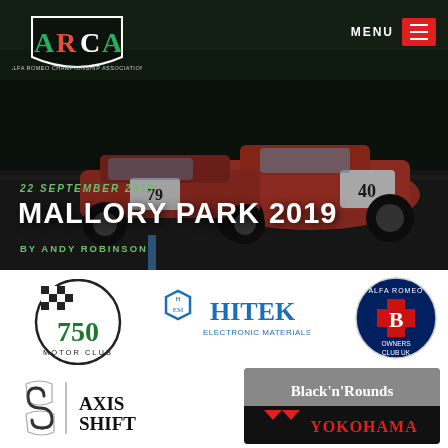[Figure (photo): Hero image of ARCA Mallory Park 2019 race event with red Alfa Romeo racing cars on track, with dark overlay]
MENU
[Figure (logo): ARCA Alfa Romeo Championship Association logo - white shield with red/green/white lettering]
22 SEPTEMBER 2019
MALLORY PARK 2019
BY ANDY ROBINSON
[Figure (logo): 750 Motor Club logo with checkered flag]
[Figure (logo): HEM HITEK Electronic Materials Ltd logo in blue]
[Figure (logo): Alfa Romeo Owners Club UK logo - circular badge with cross]
[Figure (logo): Axis Shift logo with geometric S symbol]
[Figure (logo): Black'n'Rounds and YOKOHAMA combined sponsor logo on dark background]